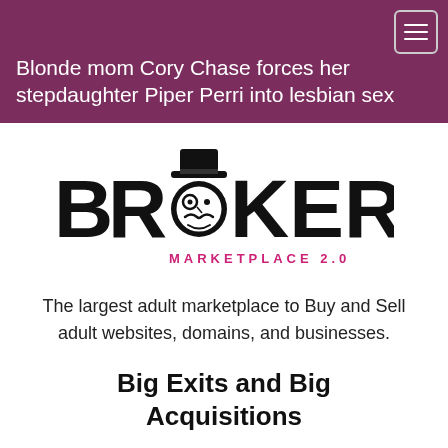Blonde mom Cory Chase forces her stepdaughter Piper Perri into lesbian sex
[Figure (logo): Broker Marketplace 2.0 logo — large bold text 'BROKER' with a cartoon gentleman face (top hat, monocle, mustache) replacing the 'O', and 'MARKETPLACE 2.0' in pink lettering below]
The largest adult marketplace to Buy and Sell adult websites, domains, and businesses.
Big Exits and Big Acquisitions